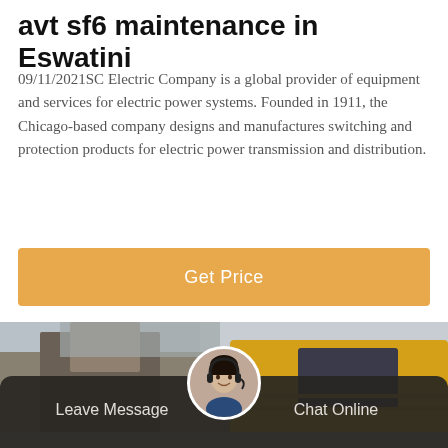avt sf6 maintenance in Eswatini
09/11/2021SC Electric Company is a global provider of equipment and services for electric power systems. Founded in 1911, the Chicago-based company designs and manufactures switching and protection products for electric power transmission and distribution.
[Figure (other): Orange 'Get Price' call-to-action button]
[Figure (photo): Photograph of a yellow heavy vehicle or truck cab outdoors, partially blurred background]
Leave Message   Chat Online